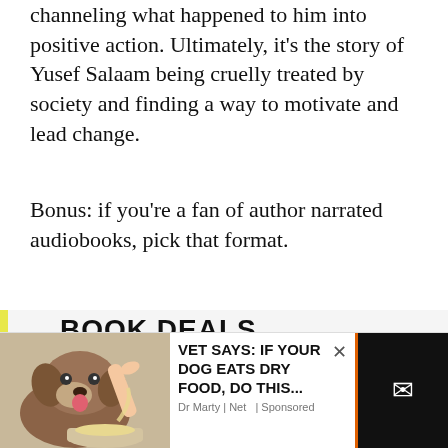channeling what happened to him into positive action. Ultimately, it's the story of Yusef Salaam being cruelly treated by society and finding a way to motivate and lead change.
Bonus: if you're a fan of author narrated audiobooks, pick that format.
BOOK DEALS NEWSLETTER
Sign up for our Book Deals newsletter and get up to 80% off books you actually want to read.
[Figure (illustration): Advertisement showing a dog being fed liquid from a bowl with text: VET SAYS: IF YOUR DOG EATS DRY FOOD, DO THIS... Dr Marty | Net... | Sponsored]